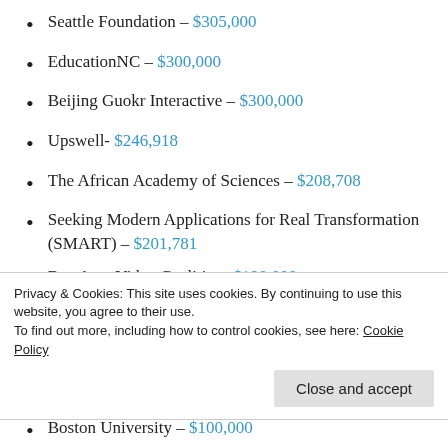Seattle Foundation – $305,000
EducationNC – $300,000
Beijing Guokr Interactive – $300,000
Upswell- $246,918
The African Academy of Sciences – $208,708
Seeking Modern Applications for Real Transformation (SMART) – $201,781
Bay Area Video Coalition- $190,000
PowHERful Foundation – $185,953
Privacy & Cookies: This site uses cookies. By continuing to use this website, you agree to their use.
To find out more, including how to control cookies, see here: Cookie Policy
Boston University – $100,000